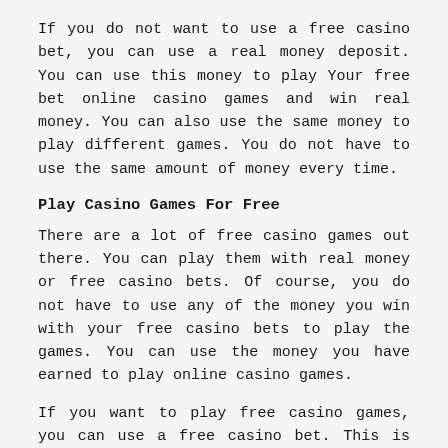If you do not want to use a free casino bet, you can use a real money deposit. You can use this money to play Your free bet online casino games and win real money. You can also use the same money to play different games. You do not have to use the same amount of money every time.
Play Casino Games For Free
There are a lot of free casino games out there. You can play them with real money or free casino bets. Of course, you do not have to use any of the money you win with your free casino bets to play the games. You can use the money you have earned to play online casino games.
If you want to play free casino games, you can use a free casino bet. This is similar to how a casino gift card works. You can use the money you have earned to play online casino games.